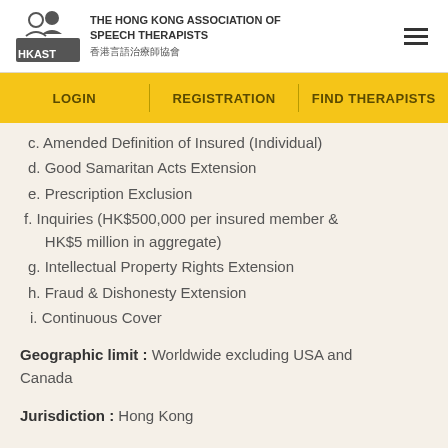THE HONG KONG ASSOCIATION OF SPEECH THERAPISTS 香港言語治療師協會
LOGIN | REGISTRATION | FIND THERAPISTS
c. Amended Definition of Insured (Individual)
d. Good Samaritan Acts Extension
e. Prescription Exclusion
f. Inquiries (HK$500,000 per insured member & HK$5 million in aggregate)
g. Intellectual Property Rights Extension
h. Fraud & Dishonesty Extension
i. Continuous Cover
Geographic limit : Worldwide excluding USA and Canada
Jurisdiction : Hong Kong